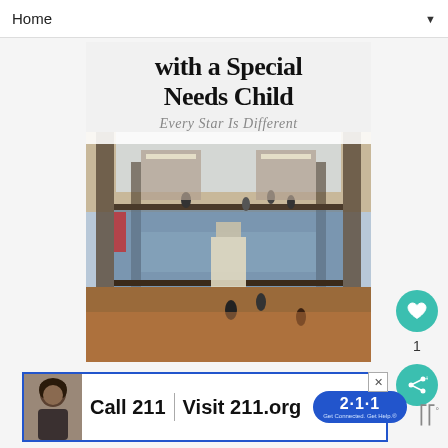Home ▼
[Figure (photo): Screenshot of a social media or blog app showing a post image. The image is a composite: top portion shows white overlay text reading 'with a Special Needs Child' and 'Every Star Is Different' over a shopping mall interior photo taken from above showing multiple levels, walkways, and people.]
[Figure (photo): Advertisement banner at the bottom: shows a person's photo on the left, then bold text 'Call 211 | Visit 211.org' with a blue oval badge showing '2·1·1' and small text 'Get Connected. Get Help.' There is a close (X) button in the top right corner of the ad.]